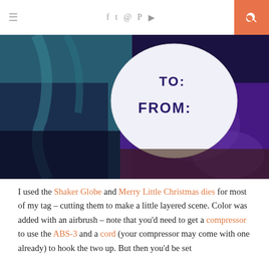≡  [social icons: f, twitter, instagram, pinterest, youtube]  [search]
[Figure (photo): Close-up photo of a gift tag with 'TO:' and 'FROM:' printed in dark purple text on a white circular tag, resting on purple and teal fabric wrapping paper.]
I used the Shaker Globe and Merry Little Christmas dies for most of my tag – cutting them to make a little layered scene. Color was added with an airbrush – note that you'd need to get a compressor to use the ABS-3 and a cord (your compressor may come with one already) to hook the two up. But then you'd be set